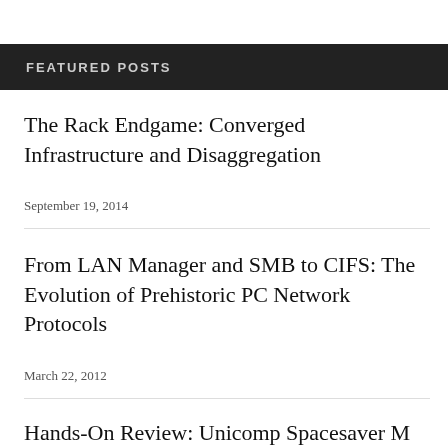FEATURED POSTS
The Rack Endgame: Converged Infrastructure and Disaggregation
September 19, 2014
From LAN Manager and SMB to CIFS: The Evolution of Prehistoric PC Network Protocols
March 22, 2012
Hands-On Review: Unicomp Spacesaver M Keyboard for Mac